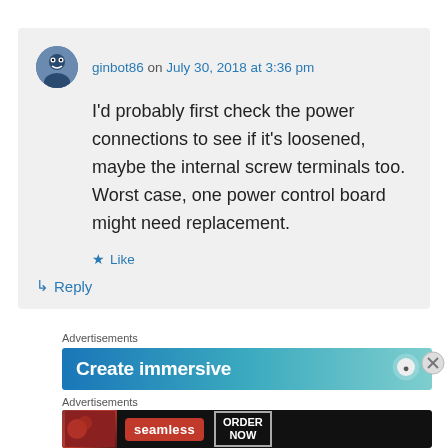ginbot86 on July 30, 2018 at 3:36 pm
I'd probably first check the power connections to see if it's loosened, maybe the internal screw terminals too. Worst case, one power control board might need replacement.
★ Like
↳ Reply
Advertisements
[Figure (screenshot): Advertisement banner: Create immersive (blue gradient background)]
Advertisements
[Figure (screenshot): Seamless food delivery advertisement with pizza image, seamless logo and ORDER NOW button]